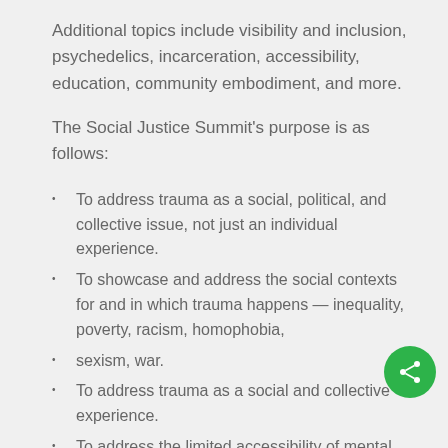Additional topics include visibility and inclusion, psychedelics, incarceration, accessibility, education, community embodiment, and more.
The Social Justice Summit's purpose is as follows:
To address trauma as a social, political, and collective issue, not just an individual experience.
To showcase and address the social contexts for and in which trauma happens — inequality, poverty, racism, homophobia,
sexism, war.
To address trauma as a social and collective experience.
To address the limited accessibility of mental health services and treatment for the most traumatized populations.
To showcase and present new models of services that provide mental health support